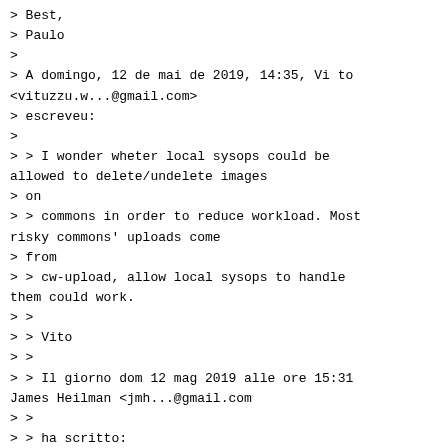> Best,
> Paulo
>
> A domingo, 12 de mai de 2019, 14:35, Vi to
<vituzzu.w...@gmail.com>
> escreveu:
>
> > I wonder wheter local sysops could be allowed to delete/undelete images
> on
> > commons in order to reduce workload. Most risky commons' uploads come
> from
> > cw-upload, allow local sysops to handle them could work.
> >
> > Vito
> >
> > Il giorno dom 12 mag 2019 alle ore 15:31 James Heilman <jmh...@gmail.com
> >
> > ha scritto:
> >
> > It is also important that...